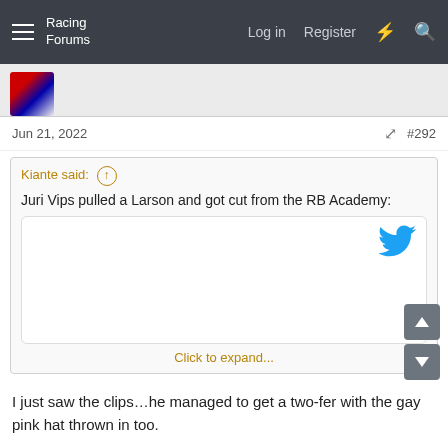Racing Forums — Log in  Register
Jun 21, 2022  #292
Kiante said: ↑
Juri Vips pulled a Larson and got cut from the RB Academy:
[Tweet embed]
Click to expand...
I just saw the clips…he managed to get a two-fer with the gay pink hat thrown in too.

Liam knew the man's RB career was over immediately. Ah well, there's always FE and IndyCar and sports cars. I don't think he